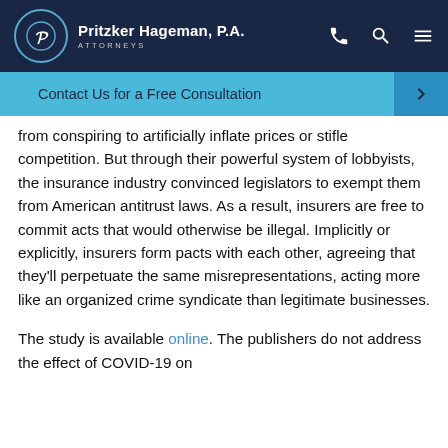Pritzker Hageman, P.A. ATTORNEYS
Contact Us for a Free Consultation →
from conspiring to artificially inflate prices or stifle competition. But through their powerful system of lobbyists, the insurance industry convinced legislators to exempt them from American antitrust laws. As a result, insurers are free to commit acts that would otherwise be illegal. Implicitly or explicitly, insurers form pacts with each other, agreeing that they'll perpetuate the same misrepresentations, acting more like an organized crime syndicate than legitimate businesses.
The study is available online. The publishers do not address the effect of COVID-19 on